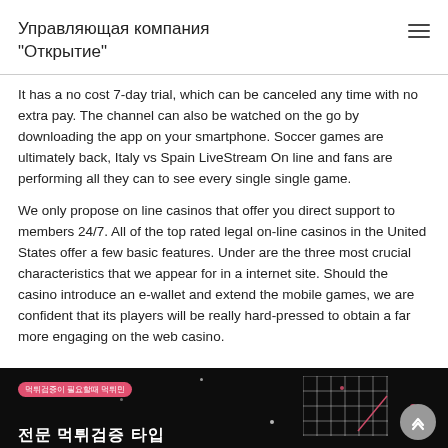Управляющая компания "Открытие"
It has a no cost 7-day trial, which can be canceled any time with no extra pay. The channel can also be watched on the go by downloading the app on your smartphone. Soccer games are ultimately back, Italy vs Spain LiveStream On line and fans are performing all they can to see every single single game.
We only propose on line casinos that offer you direct support to members 24/7. All of the top rated legal on-line casinos in the United States offer a few basic features. Under are the three most crucial characteristics that we appear for in a internet site. Should the casino introduce an e-wallet and extend the mobile games, we are confident that its players will be really hard-pressed to obtain a far more engaging on the web casino.
[Figure (photo): Dark banner with Korean text, a red pill-shaped tag with Korean characters, grid overlay, and decorative red star accents. Large white Korean text at bottom.]